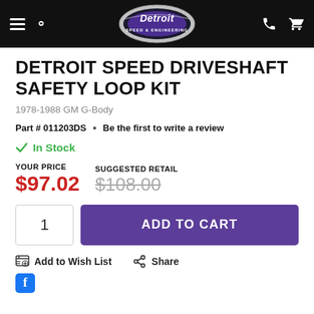Detroit Speed & Engineering — navigation header with logo, hamburger menu, search, phone, and cart icons
DETROIT SPEED DRIVESHAFT SAFETY LOOP KIT
1978-1988 GM G-Body
Part # 011203DS  •  Be the first to write a review
✓ In Stock
YOUR PRICE $97.02   SUGGESTED RETAIL $108.00
Quantity: 1   ADD TO CART
Add to Wish List   Share
[Figure (logo): Detroit Speed & Engineering oval logo in silver and purple]